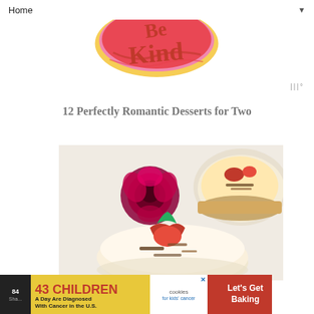Home ▼
[Figure (logo): Decorative script logo in red, pink and orange colors reading 'Be Kind' in ornate retro lettering style]
12 Perfectly Romantic Desserts for Two
[Figure (photo): Photo of cheesecake desserts topped with strawberries and chocolate shavings, with a pink rose in the background]
[Figure (infographic): Advertisement banner: '43 CHILDREN A Day Are Diagnosed With Cancer in the U.S.' with cookies for kids cancer logo and 'Let's Get Baking' call to action]